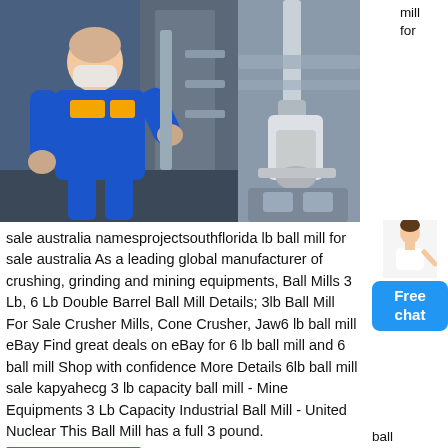[Figure (photo): Worker in blue and yellow uniform wearing face mask, operating industrial machinery in a factory setting. Right side shows close-up of industrial mill machinery parts.]
sale australia namesprojectsouthflorida lb ball mill for sale australia As a leading global manufacturer of crushing, grinding and mining equipments, Ball Mills 3 Lb, 6 Lb Double Barrel Ball Mill Details; 3lb Ball Mill For Sale Crusher Mills, Cone Crusher, Jaw6 lb ball mill eBay Find great deals on eBay for 6 lb ball mill and 6 ball mill Shop with confidence More Details 6lb ball mill sale kapyahecg 3 lb capacity ball mill - Mine Equipments 3 Lb Capacity Industrial Ball Mill - United Nuclear This Ball Mill has a full 3 pound.
【service online】
[Figure (photo): Bottom portion of industrial ball mill machinery, yellow and metallic components visible.]
mill for
[Figure (photo): Person (woman) in white clothing gesturing with hand, used as chat assistant icon.]
Free chat
ball